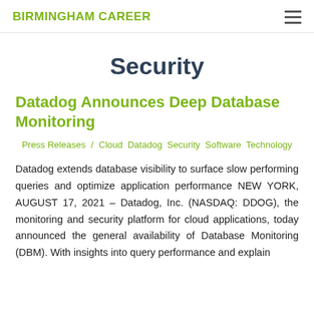BIRMINGHAM CAREER
Security
Datadog Announces Deep Database Monitoring
Press Releases / Cloud Datadog Security Software Technology
Datadog extends database visibility to surface slow performing queries and optimize application performance NEW YORK, AUGUST 17, 2021 – Datadog, Inc. (NASDAQ: DDOG), the monitoring and security platform for cloud applications, today announced the general availability of Database Monitoring (DBM). With insights into query performance and explain